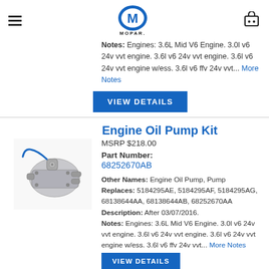Mopar logo, hamburger menu, cart icon
Notes: Engines: 3.6L Mid V6 Engine. 3.0l v6 24v vvt engine. 3.6l v6 24v vvt engine. 3.6l v6 24v vvt engine w/ess. 3.6l v6 ffv 24v vvt... More Notes
VIEW DETAILS
Engine Oil Pump Kit
MSRP $218.00
Part Number:
68252670AB
[Figure (photo): Engine oil pump kit - metallic silver colored pump with blue hose/wire]
Other Names: Engine Oil Pump, Pump
Replaces: 5184295AE, 5184295AF, 5184295AG, 68138644AA, 68138644AB, 68252670AA
Description: After 03/07/2016.
Notes: Engines: 3.6L Mid V6 Engine. 3.0l v6 24v vvt engine. 3.6l v6 24v vvt engine. 3.6l v6 24v vvt engine w/ess. 3.6l v6 ffv 24v vvt... More Notes